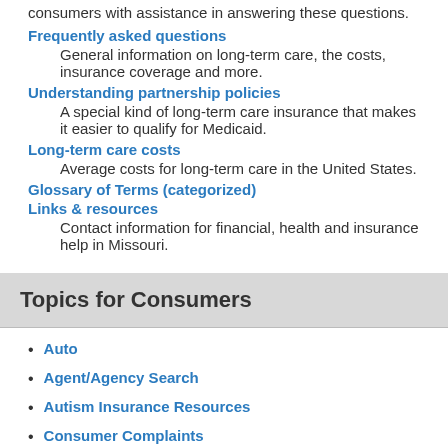consumers with assistance in answering these questions.
Frequently asked questions
General information on long-term care, the costs, insurance coverage and more.
Understanding partnership policies
A special kind of long-term care insurance that makes it easier to qualify for Medicaid.
Long-term care costs
Average costs for long-term care in the United States.
Glossary of Terms (categorized)
Links & resources
Contact information for financial, health and insurance help in Missouri.
Topics for Consumers
Auto
Agent/Agency Search
Autism Insurance Resources
Consumer Complaints